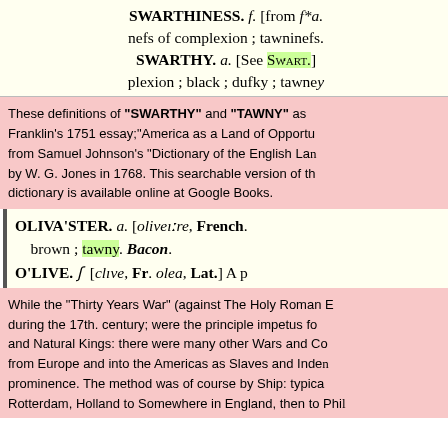SWARTHINESS. f. [from swarthiness] nefs of complexion; tawniness. SWARTHY. a. [See Swart.] plexion; black; dusky; tawney
These definitions of "SWARTHY" and "TAWNY" as Franklin's 1751 essay;"America as a Land of Opportunity from Samuel Johnson's "Dictionary of the English Language" by W. G. Jones in 1768. This searchable version of the dictionary is available online at Google Books.
OLIVASTER. a. [olivastre, French.] brown; tawny. Bacon. OLIVE. f [clive, Fr. olea, Lat.] A p
While the "Thirty Years War" (against The Holy Roman Empire) during the 17th. century; were the principle impetus for and Natural Kings: there were many other Wars and Conflicts from Europe and into the Americas as Slaves and Indentured prominence. The method was of course by Ship: typically Rotterdam, Holland to somewhere in England, then to Philadelphia